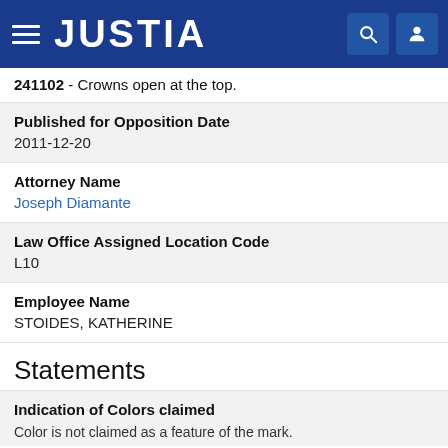JUSTIA
241102 - Crowns open at the top.
Published for Opposition Date
2011-12-20
Attorney Name
Joseph Diamante
Law Office Assigned Location Code
L10
Employee Name
STOIDES, KATHERINE
Statements
Indication of Colors claimed
Color is not claimed as a feature of the mark.